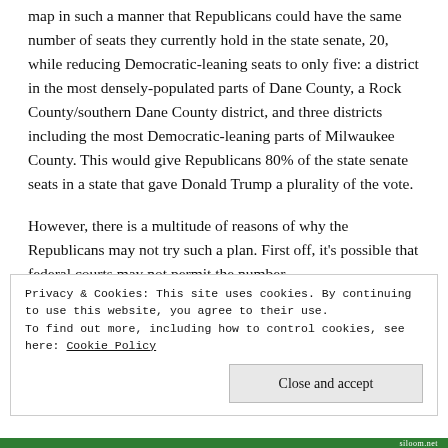map in such a manner that Republicans could have the same number of seats they currently hold in the state senate, 20, while reducing Democratic-leaning seats to only five: a district in the most densely-populated parts of Dane County, a Rock County/southern Dane County district, and three districts including the most Democratic-leaning parts of Milwaukee County. This would give Republicans 80% of the state senate seats in a state that gave Donald Trump a plurality of the vote.
However, there is a multitude of reasons of why the Republicans may not try such a plan. First off, it's possible that federal courts may not permit the number
Privacy & Cookies: This site uses cookies. By continuing to use this website, you agree to their use.
To find out more, including how to control cookies, see here: Cookie Policy

Close and accept